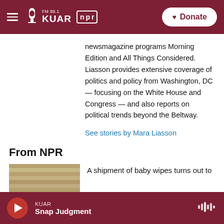FM 89.1 KUAR | NPR | Donate
newsmagazine programs Morning Edition and All Things Considered. Liasson provides extensive coverage of politics and policy from Washington, DC — focusing on the White House and Congress — and also reports on political trends beyond the Beltway.
See stories by Mara Liasson
From NPR
A shipment of baby wipes turns out to
KUAR | Snap Judgment